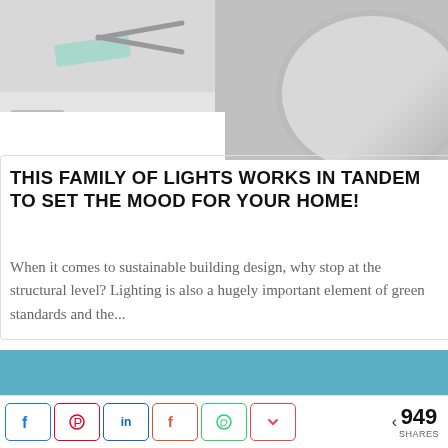[Figure (photo): Two product photos side by side: left shows a mint/teal eraser and scissors on a light background; right shows a round metallic/woven object on white background.]
THIS FAMILY OF LIGHTS WORKS IN TANDEM TO SET THE MOOD FOR YOUR HOME!
When it comes to sustainable building design, why stop at the structural level? Lighting is also a hugely important element of green standards and the...
[Figure (other): Solid light blue/steel blue rectangular block used as a visual separator or advertisement placeholder.]
< 949 SHARES — Social share buttons: Facebook, Pinterest, LinkedIn, Flipboard, WhatsApp, Pocket